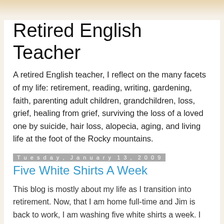Retired English Teacher
A retired English teacher, I reflect on the many facets of my life: retirement, reading, writing, gardening, faith, parenting adult children, grandchildren, loss, grief, healing from grief, surviving the loss of a loved one by suicide, hair loss, alopecia, aging, and living life at the foot of the Rocky mountains.
Tuesday, January 13, 2009
Five White Shirts A Week
This blog is mostly about my life as I transition into retirement. Now, that I am home full-time and Jim is back to work, I am washing five white shirts a week. I offered to do Jim's laundry last week since he is working and so tired on the weekends. I have never done his laundry except when he has been ill. When I married him, I was thrilled to find a man who did his own laundry! There was a time after he